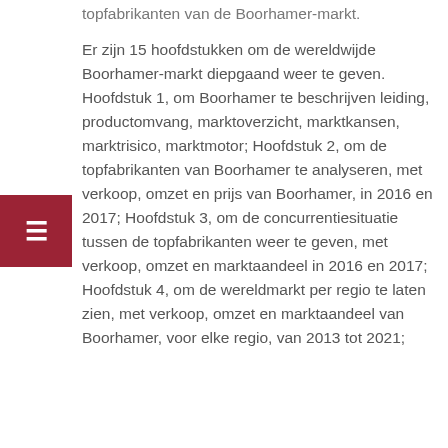topfabrikanten van de Boorhamer-markt.
Er zijn 15 hoofdstukken om de wereldwijde Boorhamer-markt diepgaand weer te geven. Hoofdstuk 1, om Boorhamer te beschrijven leiding, productomvang, marktoverzicht, marktkansen, marktrisico, marktmotor; Hoofdstuk 2, om de topfabrikanten van Boorhamer te analyseren, met verkoop, omzet en prijs van Boorhamer, in 2016 en 2017; Hoofdstuk 3, om de concurrentiesituatie tussen de topfabrikanten weer te geven, met verkoop, omzet en marktaandeel in 2016 en 2017; Hoofdstuk 4, om de wereldmarkt per regio te laten zien, met verkoop, omzet en marktaandeel van Boorhamer, voor elke regio, van 2013 tot 2021;